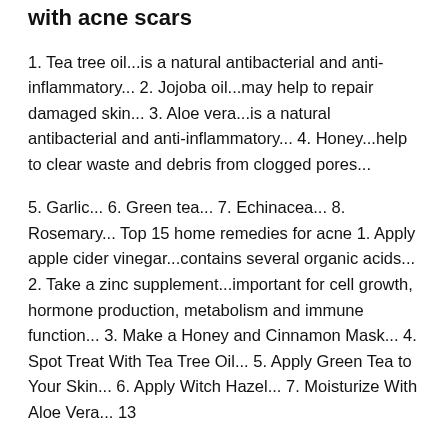with acne scars
1. Tea tree oil...is a natural antibacterial and anti-inflammatory... 2. Jojoba oil...may help to repair damaged skin... 3. Aloe vera...is a natural antibacterial and anti-inflammatory... 4. Honey...help to clear waste and debris from clogged pores...
5. Garlic... 6. Green tea... 7. Echinacea... 8. Rosemary... Top 15 home remedies for acne 1. Apply apple cider vinegar...contains several organic acids... 2. Take a zinc supplement...important for cell growth, hormone production, metabolism and immune function... 3. Make a Honey and Cinnamon Mask... 4. Spot Treat With Tea Tree Oil... 5. Apply Green Tea to Your Skin... 6. Apply Witch Hazel... 7. Moisturize With Aloe Vera... 13